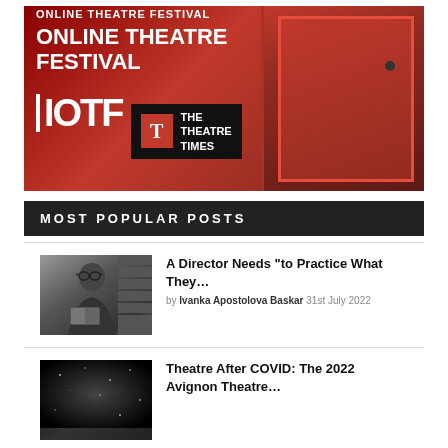[Figure (illustration): Online Theatre Festival banner with red door background. Shows IOTF logo with 'THE THEATRE TIMES' branding in black box with red T icon. White text reads 'ONLINE THEATRE FESTIVAL' and 'IOTF' letters.]
MOST POPULAR POSTS
[Figure (photo): Black and white photo of a man with glasses reading a book in front of bookshelves]
A Director Needs “to Practice What They…
by Ivanka Apostolova Baskar 31st July 2022
[Figure (photo): Dark background black and white artistic image, possibly night sky or stage]
Theatre After COVID: The 2022 Avignon Theatre…